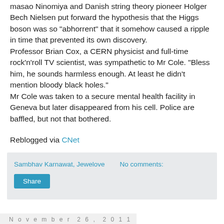Masao Ninomiya and Danish string theory pioneer Holger Bech Nielsen put forward the hypothesis that the Higgs boson was so "abhorrent" that it somehow caused a ripple in time that prevented its own discovery. Professor Brian Cox, a CERN physicist and full-time rock'n'roll TV scientist, was sympathetic to Mr Cole. "Bless him, he sounds harmless enough. At least he didn't mention bloody black holes." Mr Cole was taken to a secure mental health facility in Geneva but later disappeared from his cell. Police are baffled, but not that bothered.
Reblogged via CNet
Sambhav Karnawat, Jewelove    No comments:
Share
November 26, 2011
The One thing even Rajnikanth cannot do . .